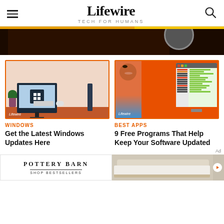Lifewire – TECH FOR HUMANS
[Figure (screenshot): Lifewire website header with hamburger menu, Lifewire logo with 'TECH FOR HUMANS' subtitle, and search icon. Below the header is a color stripe (orange/yellow), a dark banner image section.]
[Figure (illustration): Illustration of a desktop computer with Windows logo on screen, a desk lamp, keyboard and mouse on a red-orange desk, and a small potted plant. Lifewire watermark in corner. Orange border frame.]
WINDOWS
Get the Latest Windows Updates Here
[Figure (illustration): Illustration of a cartoon man looking at a software interface screen with colored bars and lists on an orange background. Lifewire watermark in corner. Orange border frame.]
BEST APPS
9 Free Programs That Help Keep Your Software Updated
Ad
[Figure (photo): Bottom advertisement strip showing Pottery Barn logo with 'SHOP BESTSELLERS' text on left, and a sofa/couch photo on the right with a play button.]